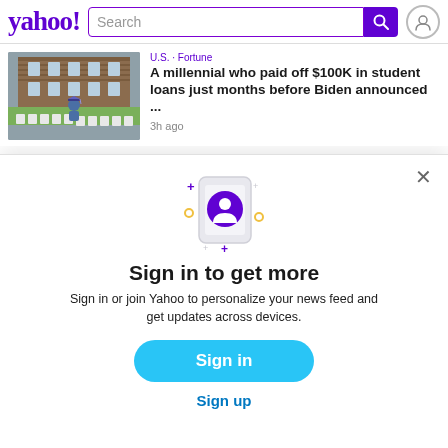[Figure (screenshot): Yahoo! logo with purple text and exclamation mark]
[Figure (screenshot): Search bar with purple border and search icon button]
[Figure (photo): Photo of a graduate in blue cap and gown sitting alone in empty white chairs outdoors in front of a brick building]
U.S. · Fortune
A millennial who paid off $100K in student loans just months before Biden announced ...
3h ago
[Figure (illustration): Smartphone icon with purple user/account circle icon and decorative sparkle stars in purple and yellow]
Sign in to get more
Sign in or join Yahoo to personalize your news feed and get updates across devices.
Sign in
Sign up